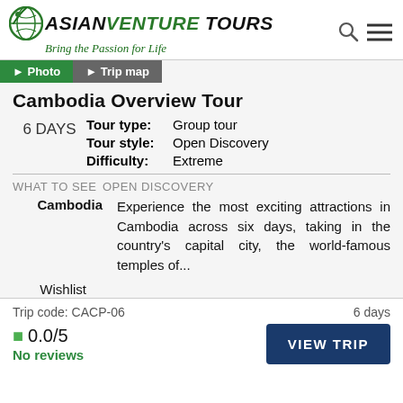[Figure (logo): Asian Venture Tours logo with globe icon and tagline 'Bring the Passion for Life']
Cambodia Overview Tour
6 DAYS
Tour type: Group tour
Tour style: Open Discovery
Difficulty: Extreme
WHAT TO SEE   OPEN DISCOVERY
Cambodia   Experience the most exciting attractions in Cambodia across six days, taking in the country's capital city, the world-famous temples of...
Wishlist
Trip code: CACP-06   6 days
★ 0.0/5
No reviews
VIEW TRIP